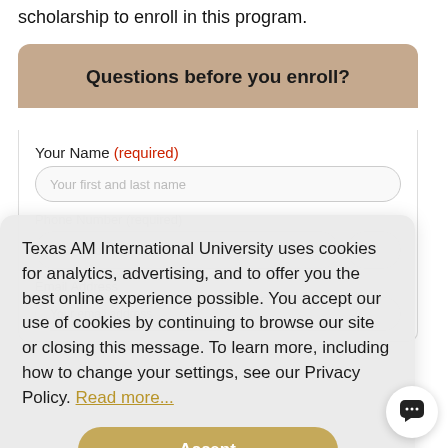scholarship to enroll in this program.
Questions before you enroll?
Your Name (required)
Your first and last name
Phone Number (required)
Your phone number
Texas AM International University uses cookies for analytics, advertising, and to offer you the best online experience possible. You accept our use of cookies by continuing to browse our site or closing this message. To learn more, including how to change your settings, see our Privacy Policy. Read more...
Accept
Email Address
Your email address